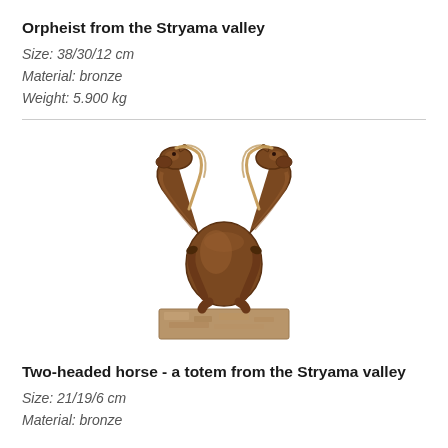Orpheist from the Stryama valley
Size: 38/30/12 cm
Material: bronze
Weight: 5.900 kg
[Figure (photo): Bronze sculpture of a two-headed horse on a stone base, viewed from the side. The horse has two heads facing opposite directions, with raised front legs in a prancing pose. The sculpture sits on a rectangular granite/stone pedestal.]
Two-headed horse - a totem from the Stryama valley
Size: 21/19/6 cm
Material: bronze